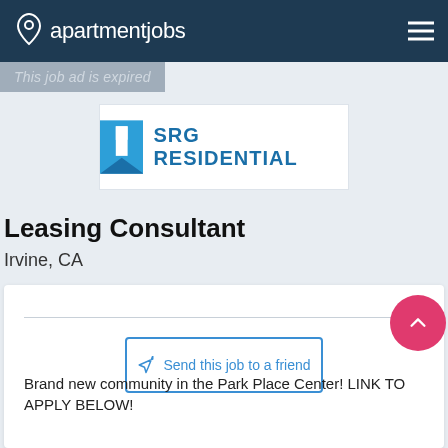apartmentjobs
This job ad is expired
[Figure (logo): SRG Residential company logo with blue bookmark/flag icon and bold blue text SRG RESIDENTIAL]
Leasing Consultant
Irvine, CA
Send this job to a friend
Brand new community in the Park Place Center!  LINK TO APPLY BELOW!